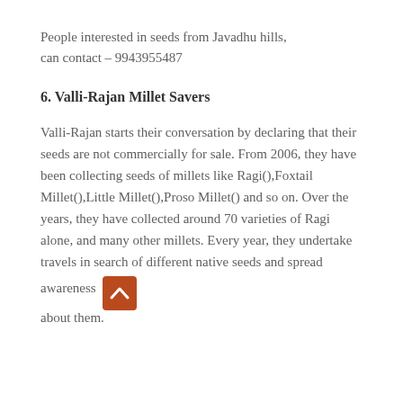People interested in seeds from Javadhu hills, can contact – 9943955487
6. Valli-Rajan Millet Savers
Valli-Rajan starts their conversation by declaring that their seeds are not commercially for sale. From 2006, they have been collecting seeds of millets like Ragi(),Foxtail Millet(),Little Millet(),Proso Millet() and so on. Over the years, they have collected around 70 varieties of Ragi alone, and many other millets. Every year, they undertake travels in search of different native seeds and spread awareness about them.